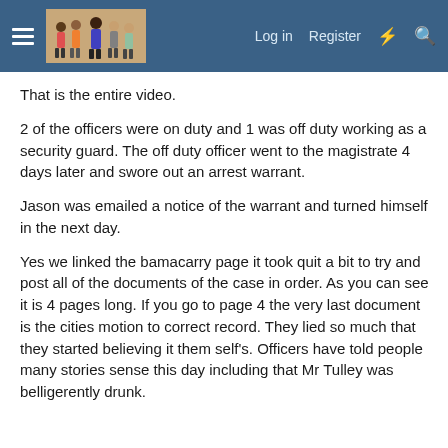Log in  Register
That is the entire video.
2 of the officers were on duty and 1 was off duty working as a security guard. The off duty officer went to the magistrate 4 days later and swore out an arrest warrant.
Jason was emailed a notice of the warrant and turned himself in the next day.
Yes we linked the bamacarry page it took quit a bit to try and post all of the documents of the case in order. As you can see it is 4 pages long. If you go to page 4 the very last document is the cities motion to correct record. They lied so much that they started believing it them self's. Officers have told people many stories sense this day including that Mr Tulley was belligerently drunk.